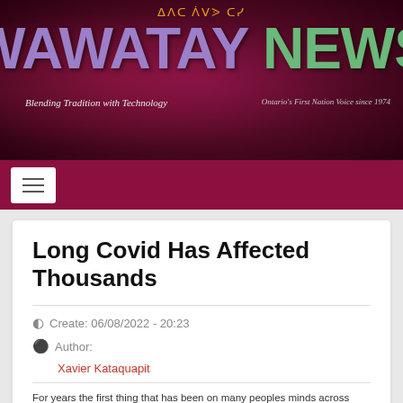[Figure (logo): Wawatay News masthead banner with purple WAWATAY and green NEWS text on dark red/maroon background, with syllabics text above and taglines below]
WAWATAY NEWS — Blending Tradition with Technology — Ontario's First Nation Voice since 1974
Long Covid Has Affected Thousands
Create: 06/08/2022 - 20:23
Author:
Xavier Kataquapit
For years the first thing that has been on many peoples minds across the...